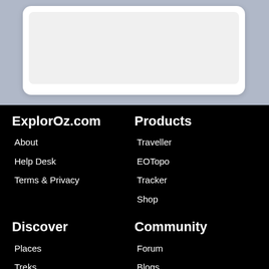[Figure (screenshot): Top portion of a mobile app/website UI showing a white card with rounded corners on a gray-blue background, containing a light gray content area.]
ExplorOz.com
About
Help Desk
Terms & Privacy
Products
Traveller
EOTopo
Tracker
Shop
Discover
Places
Treks
Community
Forum
Blogs